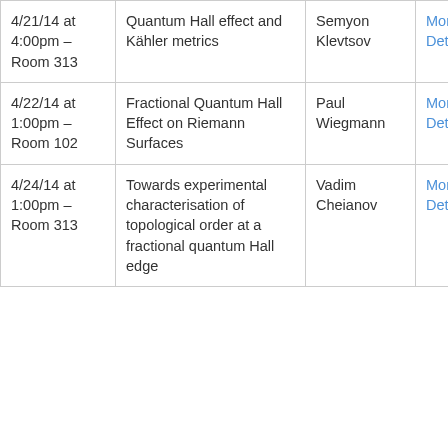| Date | Title | Speaker | Link |
| --- | --- | --- | --- |
| 4/21/14 at 4:00pm – Room 313 | Quantum Hall effect and Kähler metrics | Semyon Klevtsov | More Details |
| 4/22/14 at 1:00pm – Room 102 | Fractional Quantum Hall Effect on Riemann Surfaces | Paul Wiegmann | More Details |
| 4/24/14 at 1:00pm – Room 313 | Towards experimental characterisation of topological order at a fractional quantum Hall edge | Vadim Cheianov | More Details |